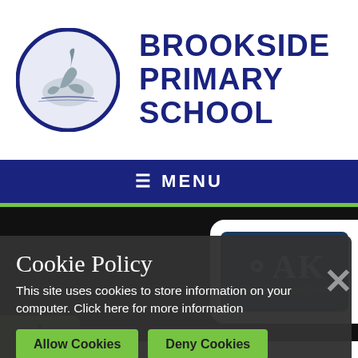[Figure (logo): Brookside Primary School circular logo with heron/bird illustration in blue circle]
BROOKSIDE PRIMARY SCHOOL
☰ MENU
[Figure (logo): OAK Multi Academy Trust logo — dark navy rectangle with OAK text and gold decorative ring around O, subtitle Multi Academy Trust]
Cookie Policy
This site uses cookies to store information on your computer. Click here for more information
Allow Cookies
Deny Cookies